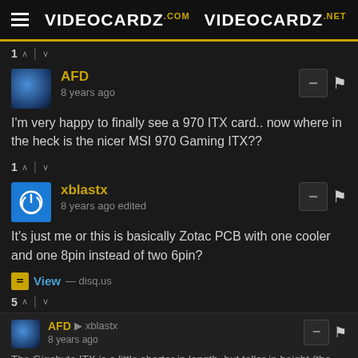VIDEOCARDZ.com  VIDEOCARDZ.net
1 ↑ | ↓
AFD
8 years ago
I'm very happy to finally see a 970 ITX card.. now where in the heck is the nicer MSI 970 Gaming ITX??
1 ↑ | ↓
xblastx
8 years ago edited
It's just me or this is basically Zotac PCB with one cooler and one 8pin instead of two 6pin?
View — disq.us
5 ↑ | ↓
AFD → xblastx
8 years ago
The Gigabyte ITX is a little shorter in length, but taller in height (the board is higher than the PCI bracket). Should